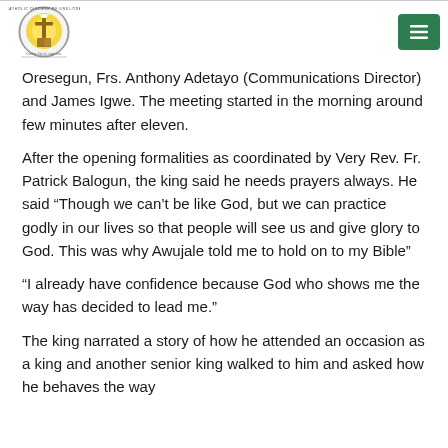Catholic Diocese of Urui-Ode logo and navigation menu
Oresegun, Frs. Anthony Adetayo (Communications Director) and James Igwe. The meeting started in the morning around few minutes after eleven.
After the opening formalities as coordinated by Very Rev. Fr. Patrick Balogun, the king said he needs prayers always. He said “Though we can’t be like God, but we can practice godly in our lives so that people will see us and give glory to God. This was why Awujale told me to hold on to my Bible”
“I already have confidence because God who shows me the way has decided to lead me.”
The king narrated a story of how he attended an occasion as a king and another senior king walked to him and asked how he behaves the way